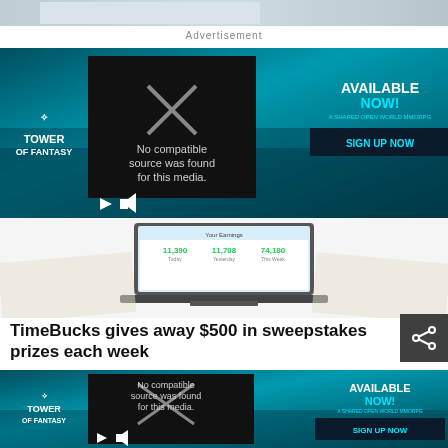[Figure (screenshot): Top image strip showing partial game or web page screenshot]
Advertisement
[Figure (screenshot): Tower of Fantasy game advertisement banner with video player showing 'No compatible source was found for this media.' error, and Sign Up Now button]
[Figure (screenshot): TimeBucks website screenshot on laptop showing earnings dashboard with numbers 11,390 Today, 11,708 Yesterday, 74,180 This Week]
TimeBucks gives away $500 in sweepstakes prizes each week
[Figure (screenshot): Second Tower of Fantasy game advertisement banner with video player showing 'No compatible source was found for this media.' error, and Sign Up Now button]